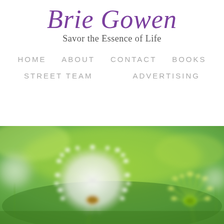Brie Gowen
Savor the Essence of Life
HOME   ABOUT   CONTACT   BOOKS
STREET TEAM   ADVERTISING
[Figure (photo): Close-up photograph of white dandelion seed heads (dandelion clocks) against a blurred green background. Two large dandelions in the foreground and smaller ones to the sides.]